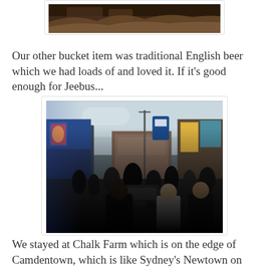[Figure (photo): Top portion of a photo showing what appears to be a decorative structure or market stall with dark wooden/metal elements, cropped at the top of the page]
Our other bucket item was traditional English beer which we had loads of and loved it. If it's good enough for Jeebus...
[Figure (photo): Street scene in Camden Town, London. A busy street with crowds of people, a car, colorful storefronts including a blue building with art, market stalls with clothing, and a large brick building (Hawley Arms or similar Camden landmark) in the background. Street signs and banners visible.]
We stayed at Chalk Farm which is on the edge of Camdentown, which is like Sydney's Newtown on horse steroids. It gets so busy on weekends they close the train station. Time for us to get out of here. A few days in London was a nice taster. We wish we could get on a train to explore